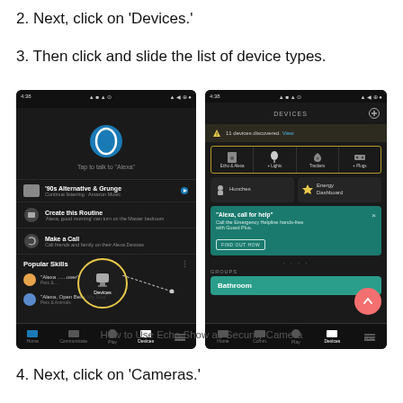2. Next, click on ‘Devices.’
3. Then click and slide the list of device types.
[Figure (screenshot): Two side-by-side Alexa app screenshots on dark background. Left shows Alexa home screen with 'Tap to talk to Alexa', popular skills, and a circled 'Devices' icon in the bottom navigation. Right shows the Devices screen with categories: Echo & Alexa, Lights, Trackers, Plugs; sections for Hunches, Energy Dashboard; a teal 'Alexa call for help' banner; Groups section with Bathroom. A coral FAB arrow button is visible in the bottom right.]
How to Use Echo Show as Security Camera
4. Next, click on ‘Cameras.’